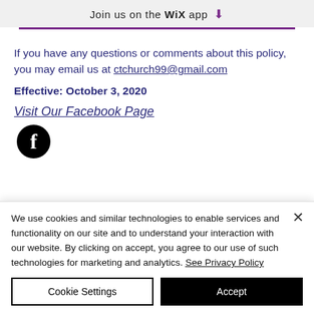Join us on the WiX app
If you have any questions or comments about this policy, you may email us at ctchurch99@gmail.com
Effective: October 3, 2020
Visit Our Facebook Page
[Figure (logo): Facebook icon — black circle with white letter f]
We use cookies and similar technologies to enable services and functionality on our site and to understand your interaction with our website. By clicking on accept, you agree to our use of such technologies for marketing and analytics. See Privacy Policy